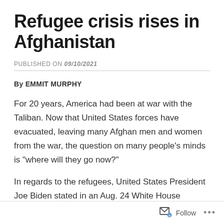Refugee crisis rises in Afghanistan
PUBLISHED ON 09/10/2021
By EMMIT MURPHY
For 20 years, America had been at war with the Taliban. Now that United States forces have evacuated, leaving many Afghan men and women from the war, the question on many people’s minds is “where will they go now?”
In regards to the refugees, United States President Joe Biden stated in an Aug. 24 White House speech that, “The United States will be a leader in [evacuation] efforts and will